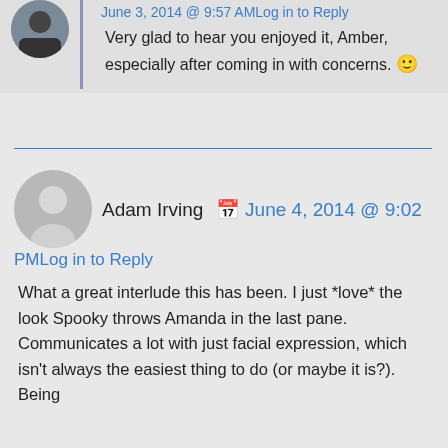Alex Woolson · June 3, 2014 @ 9:57 AM Log in to Reply
Very glad to hear you enjoyed it, Amber, especially after coming in with concerns. 🙂
Adam Irving · June 4, 2014 @ 9:02 PM Log in to Reply
What a great interlude this has been. I just *love* the look Spooky throws Amanda in the last pane. Communicates a lot with just facial expression, which isn't always the easiest thing to do (or maybe it is?). Being